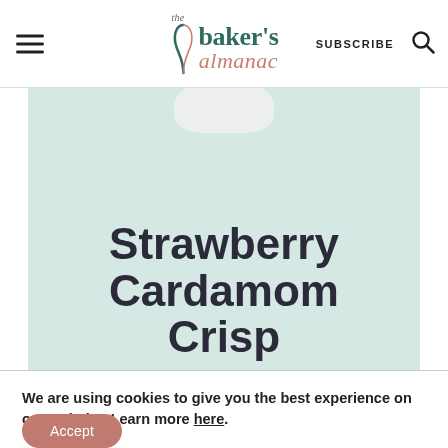the baker's almanac | SUBSCRIBE
[Figure (photo): Hero image area with light mint/teal background showing text overlay. A white ceramic dish or hand is partially visible at the top. Large bold text reads 'Strawberry Cardamom Crisp'.]
Strawberry Cardamom Crisp
We are using cookies to give you the best experience on our website. Learn more here.
Accept